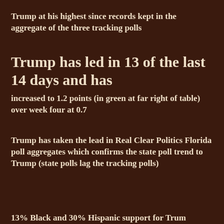Trump at his highest since records kept in the aggregate of the three tracking polls
Trump has led in 13 of the last 14 days and has
increased to 1.2 points (in green at far right of table) over week four at 0.7
Trump has taken the lead in Real Clear Politics Florida poll aggregates which confirms the state poll trend to Trump (state polls lag the tracking polls)
13% Black and 30% Hispanic support for Trump